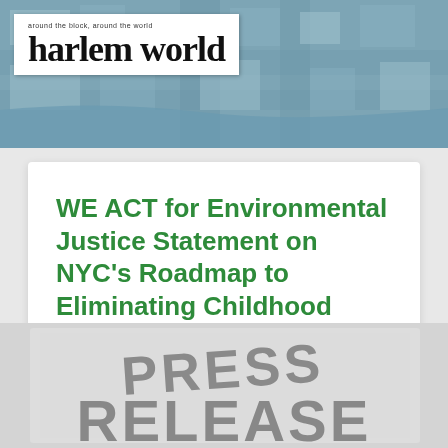[Figure (photo): Harlem World magazine header with aerial photograph of Harlem neighborhood and logo in white box reading 'harlem world' with tagline 'around the block, around the world']
WE ACT for Environmental Justice Statement on NYC's Roadmap to Eliminating Childhood Lead Exposure
READ MORE
[Figure (photo): Press Release stamp/graphic with large grey bold text reading 'PRESS RELEASE']